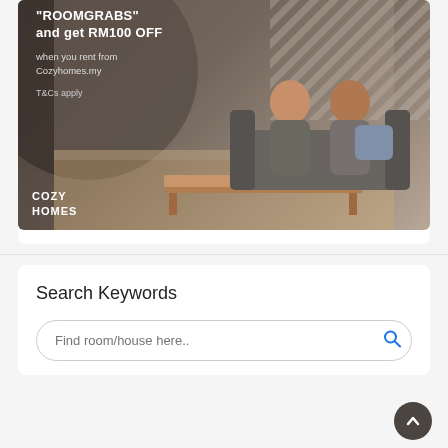[Figure (illustration): Cozy Homes advertisement banner showing a couple sitting on a sofa in a modern living room with a coffee table. Text overlay reads: ROOMGRABS and get RM100 OFF when you rent from Cozyhomes.my T&Cs apply. Brand logo COZY HOMES at bottom left.]
Search Keywords
Find room/house here..